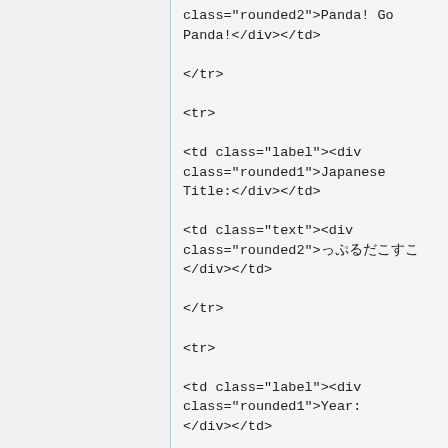class="rounded2">Panda! Go Panda!</div></td>

</tr>

<tr>

<td class="label"><div class="rounded1">Japanese Title:</div></td>

<td class="text"><div class="rounded2">っぷるだこすこ </div></td>

</tr>

<tr>

<td class="label"><div class="rounded1">Year:</div></td>

<td class="text"><div class="rounded2">1972 &